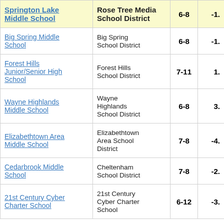| School | District | Grades | Value |
| --- | --- | --- | --- |
| Springton Lake Middle School | Rose Tree Media School District | 6-8 | -1. |
| Big Spring Middle School | Big Spring School District | 6-8 | -1. |
| Forest Hills Junior/Senior High School | Forest Hills School District | 7-11 | 1. |
| Wayne Highlands Middle School | Wayne Highlands School District | 6-8 | 3. |
| Elizabethtown Area Middle School | Elizabethtown Area School District | 7-8 | -4. |
| Cedarbrook Middle School | Cheltenham School District | 7-8 | -2. |
| 21st Century Cyber Charter School | 21st Century Cyber Charter School | 6-12 | -3. |